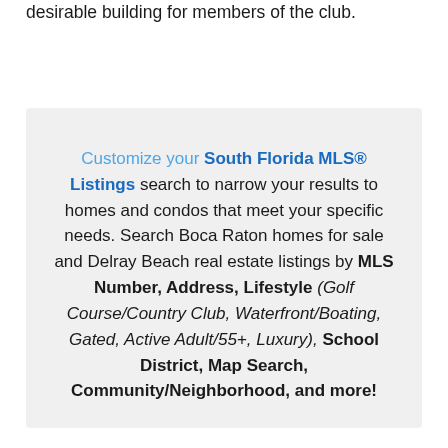desirable building for members of the club.
Customize your South Florida MLS® Listings search to narrow your results to homes and condos that meet your specific needs. Search Boca Raton homes for sale and Delray Beach real estate listings by MLS Number, Address, Lifestyle (Golf Course/Country Club, Waterfront/Boating, Gated, Active Adult/55+, Luxury), School District, Map Search, Community/Neighborhood, and more!